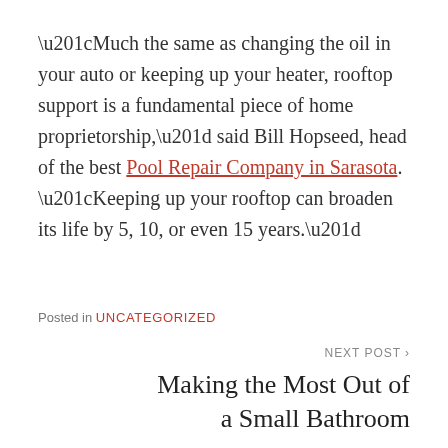“Much the same as changing the oil in your auto or keeping up your heater, rooftop support is a fundamental piece of home proprietorship,” said Bill Hopseed, head of the best Pool Repair Company in Sarasota. “Keeping up your rooftop can broaden its life by 5, 10, or even 15 years.”
Posted in UNCATEGORIZED
NEXT POST ›
Making the Most Out of a Small Bathroom